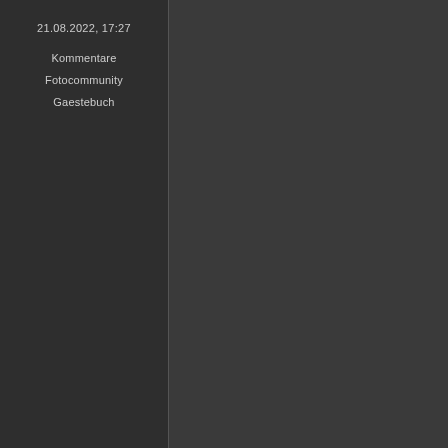21.08.2022, 17:27
Kommentare
Fotocommunity
Gaestebuch